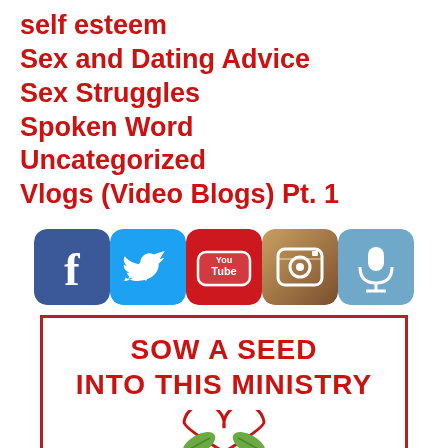self esteem
Sex and Dating Advice
Sex Struggles
Spoken Word
Uncategorized
Vlogs (Video Blogs) Pt. 1
[Figure (infographic): Row of 5 social media icon buttons: Facebook (blue), Twitter (light blue), YouTube (red), Instagram (brown/camera), Podcast/microphone (blue-grey)]
[Figure (infographic): Red-bordered box with text 'SOW A SEED INTO THIS MINISTRY' in red bold font, with a heart and leaf graphic below]